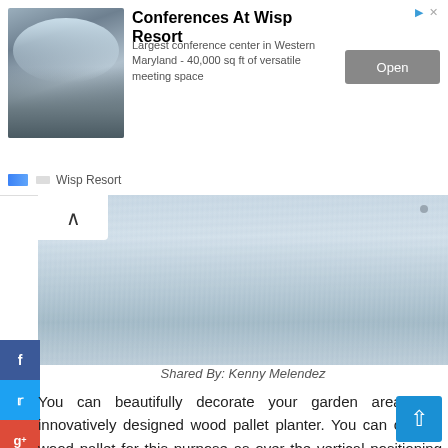[Figure (other): Advertisement banner for Conferences At Wisp Resort showing a group of skiers and resort details with an Open button]
Conferences At Wisp Resort
Largest conference center in Western Maryland - 40,000 sq ft of versatile meeting space
[Figure (photo): Snow texture/slope photo, partially visible, with an up-arrow navigation button overlay]
Shared By: Kenny Melendez
You can beautifully decorate your garden area with innovatively designed wood pallet planter. You can choose wood pallet for this purpose as over the vertical positioning of the cut piece that will look so graceful. This pallet planter creation is light in weight and easy to move around.